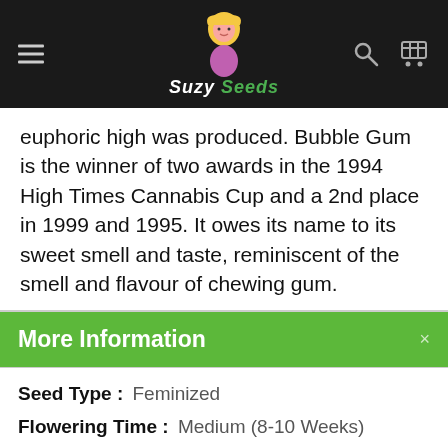Suzy Seeds
euphoric high was produced. Bubble Gum is the winner of two awards in the 1994 High Times Cannabis Cup and a 2nd place in 1999 and 1995. It owes its name to its sweet smell and taste, reminiscent of the smell and flavour of chewing gum.
More Information
| Attribute | Value |
| --- | --- |
| Seed Type : | Feminized |
| Flowering Time : | Medium (8-10 Weeks) |
| Sativa/Indica: | Hybrid |
| Climate: | Mild / Continental |
| Type: | Indoor & Outdoor |
| Grow Difficulty : | Medium |
| Yield: | Large |
| Height: | Medium |